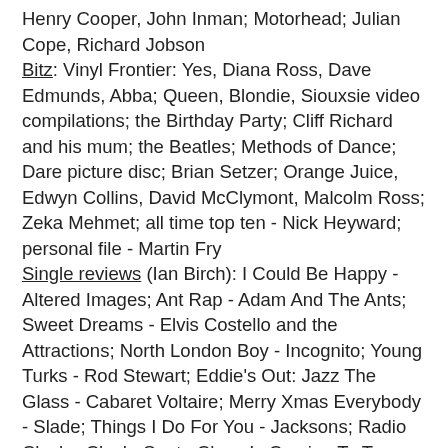Henry Cooper, John Inman; Motorhead; Julian Cope, Richard Jobson
Bitz: Vinyl Frontier: Yes, Diana Ross, Dave Edmunds, Abba; Queen, Blondie, Siouxsie video compilations; the Birthday Party; Cliff Richard and his mum; the Beatles; Methods of Dance; Dare picture disc; Brian Setzer; Orange Juice, Edwyn Collins, David McClymont, Malcolm Ross; Zeka Mehmet; all time top ten - Nick Heyward; personal file - Martin Fry
Single reviews (Ian Birch): I Could Be Happy - Altered Images; Ant Rap - Adam And The Ants; Sweet Dreams - Elvis Costello and the Attractions; North London Boy - Incognito; Young Turks - Rod Stewart; Eddie's Out: Jazz The Glass - Cabaret Voltaire; Merry Xmas Everybody - Slade; Things I Do For You - Jacksons; Radio Clash - Clash; Santa Claus Is Coming To Town - Mysteroids; Shout - Lulu & the Luvvers; What's Funk? - Perry Haines; Love Needs No Disguise - Gary Numan and Dramatis; Friday 13th EP - Damned; Six Guns - Anti-Pasta; Spirits In The Material World - Police; It Must Be Love - Madness
Album reviews (Fred Dellar / Ian Cranna / Beverly Hillier / Red Starr / Ian Birch / Neil Tennant / Mike Stand / David